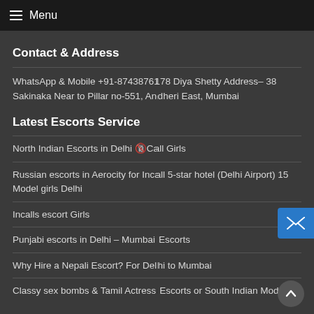Menu
Contact & Address
WhatsApp & Mobile +91-8743876178 Diya Shetty Address– 38 Sakinaka Near to Pillar no-551, Andheri East, Mumbai
Latest Escorts Service
North Indian Escorts in Delhi 🔞Call Girls
Russian escorts in Aerocity for Incall 5-star hotel (Delhi Airport) 15 Model girls Delhi
Incalls escort Girls
Punjabi escorts in Delhi – Mumbai Escorts
Why Hire a Nepali Escort? For Delhi to Mumbai
Classy sex bombs & Tamil Actress Escorts or South Indian Models